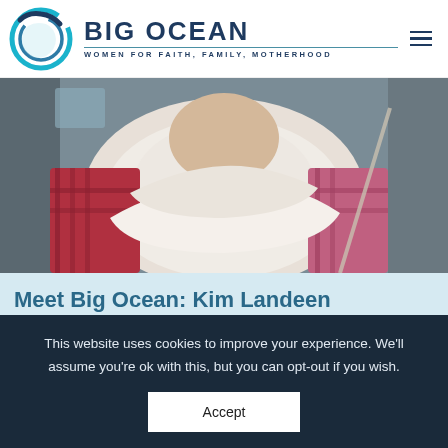[Figure (logo): Big Ocean Women logo: circular teal/blue brushstroke circle on left, text 'BIG OCEAN' in large dark navy bold letters, tagline 'WOMEN FOR FAITH, FAMILY, MOTHERHOOD' below a horizontal line]
[Figure (photo): Photo of a person wearing a white scarf/wrap and red plaid jacket, sitting in a car, face not shown]
Meet Big Ocean: Kim Landeen
Big Ocean Women, Meet Big Ocean  •  By admin  •
July 21, 2017  •  Leave a comment
This website uses cookies to improve your experience. We'll assume you're ok with this, but you can opt-out if you wish.
Accept